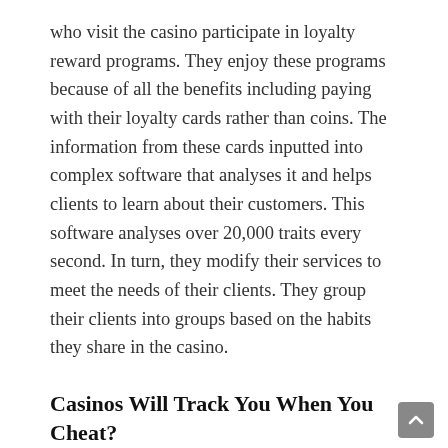who visit the casino participate in loyalty reward programs. They enjoy these programs because of all the benefits including paying with their loyalty cards rather than coins. The information from these cards inputted into complex software that analyses it and helps clients to learn about their customers. This software analyses over 20,000 traits every second. In turn, they modify their services to meet the needs of their clients. They group their clients into groups based on the habits they share in the casino.
Casinos Will Track You When You Cheat?
Now you know that casinos track information about you, especially when you're part of their loyalty reward program. We've talked about all the benefits you get as